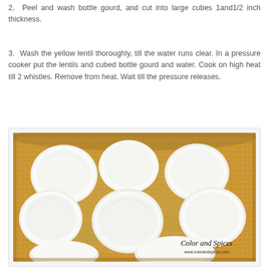2.  Peel and wash bottle gourd, and cut into large cubes 1and1/2 inch thickness.
3.  Wash the yellow lentil thoroughly, till the water runs clear. In a pressure cooker put the lentils and cubed bottle gourd and water. Cook on high heat till 2 whistles. Remove from heat. Wait till the pressure releases.
[Figure (photo): Photo of white bottle gourd cubes sitting in yellow lentils (moong dal) with water in a pressure cooker or pot, with a 'Color and Spices' watermark in the bottom right corner.]